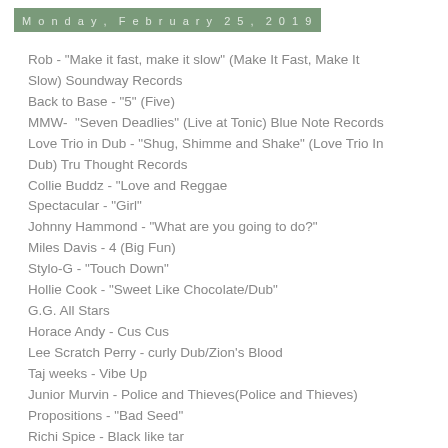Monday, February 25, 2019
Rob - "Make it fast, make it slow" (Make It Fast, Make It Slow) Soundway Records
Back to Base - "5" (Five)
MMW-  "Seven Deadlies" (Live at Tonic) Blue Note Records
Love Trio in Dub - "Shug, Shimme and Shake" (Love Trio In Dub) Tru Thought Records
Collie Buddz - "Love and Reggae
Spectacular - "Girl"
Johnny Hammond - "What are you going to do?"
Miles Davis - 4 (Big Fun)
Stylo-G - "Touch Down"
Hollie Cook - "Sweet Like Chocolate/Dub"
G.G. All Stars
Horace Andy - Cus Cus
Lee Scratch Perry - curly Dub/Zion's Blood
Taj weeks - Vibe Up
Junior Murvin - Police and Thieves(Police and Thieves)
Propositions - "Bad Seed"
Richi Spice - Black like tar